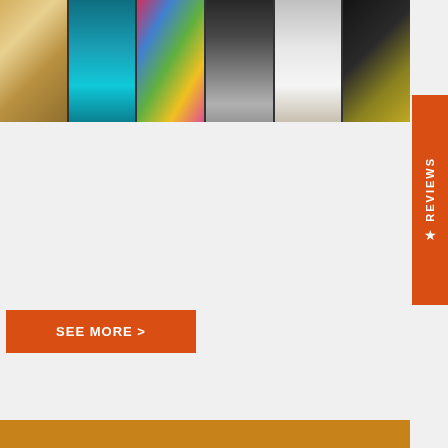[Figure (photo): A horizontal strip of 6 thumbnail photos showing various home/decor items: carved wall art, pool/water feature, colorful mosaic wall, appliance/mirror, white cabinet drawers, and a decorative framed item]
[Figure (other): Orange vertical Reviews tab on the right side with star icon]
SEE MORE >